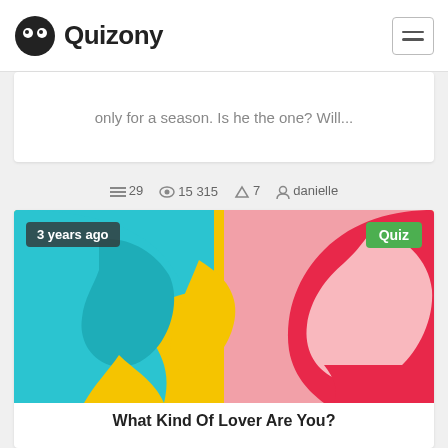Quizony
only for a season. Is he the one? Will...
29  15 315  7  danielle
[Figure (illustration): Paper cut art illustration of two face profiles facing each other against a yellow background: left profile is teal/cyan colored (male), right profile is pink/red colored (female). Text badges overlay: '3 years ago' on the left and 'Quiz' on the right.]
What Kind Of Lover Are You?